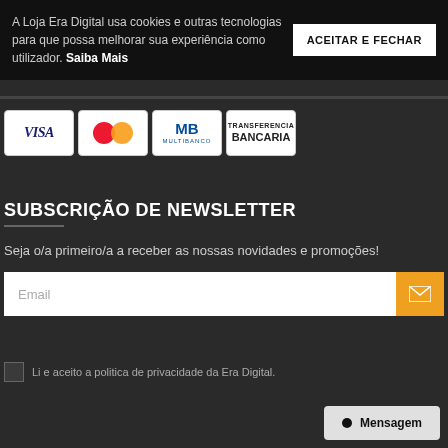A Loja Era Digital usa cookies e outras tecnologias para que possa melhorar sua experiência como utilizador. Saiba Mais
ACEITAR E FECHAR
[Figure (other): Payment method logos: VISA, Mastercard, MB Multibanco, Transferencia Bancaria]
SUBSCRIÇÃO DE NEWSLETTER
Seja o/a primeiro/a a receber as nossas novidades e promoções!
Email
Li e aceito a politica de privacidade da Era Digital.
Mensagem